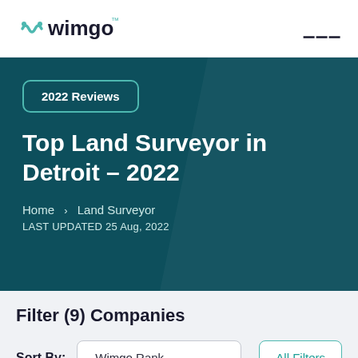wimgo
2022 Reviews
Top Land Surveyor in Detroit – 2022
Home > Land Surveyor
LAST UPDATED 25 Aug, 2022
Filter (9) Companies
Sort By: Wimgo Rank   All Filters